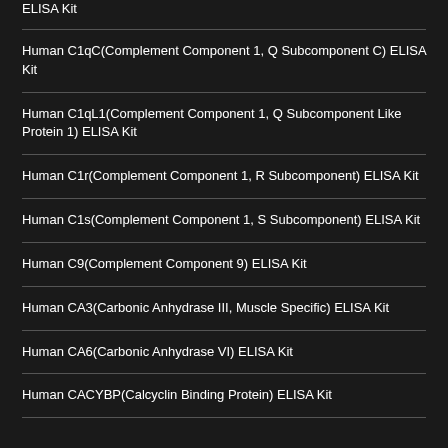ELISA Kit
Human C1qC(Complement Component 1, Q Subcomponent C) ELISA Kit
Human C1qL1(Complement Component 1, Q Subcomponent Like Protein 1) ELISA Kit
Human C1r(Complement Component 1, R Subcomponent) ELISA Kit
Human C1s(Complement Component 1, S Subcomponent) ELISA Kit
Human C9(Complement Component 9) ELISA Kit
Human CA3(Carbonic Anhydrase III, Muscle Specific) ELISA Kit
Human CA6(Carbonic Anhydrase VI) ELISA Kit
Human CACYBP(Calcyclin Binding Protein) ELISA Kit